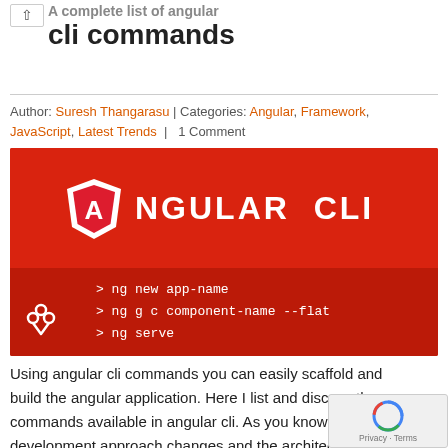cli commands
Author: Suresh Thangarasu | Categories: Angular, Framework, JavaScript, Latest Trends | 1 Comment
[Figure (screenshot): Angular CLI promotional banner showing the Angular shield logo, the text 'ANGULAR CLI', and three CLI commands: '> ng new app-name', '> ng g c component-name --flat', '> ng serve'. Red background with a Bower icon in the bottom left.]
Using angular cli commands you can easily scaffold and build the angular application. Here I list and discuss the commands available in angular cli. As you know Angular development approach changes and the architecture got numerous improvements after the latest release.  Along with tha angular/cli also upgrade to support